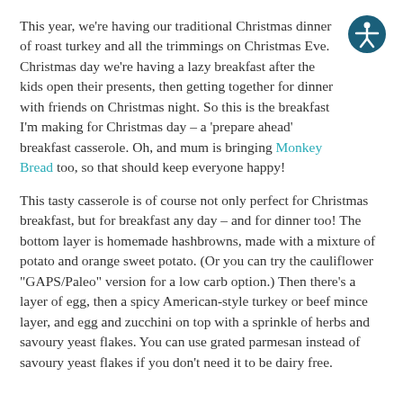This year, we're having our traditional Christmas dinner of roast turkey and all the trimmings on Christmas Eve. Christmas day we're having a lazy breakfast after the kids open their presents, then getting together for dinner with friends on Christmas night. So this is the breakfast I'm making for Christmas day – a 'prepare ahead' breakfast casserole. Oh, and mum is bringing Monkey Bread too, so that should keep everyone happy!
This tasty casserole is of course not only perfect for Christmas breakfast, but for breakfast any day – and for dinner too! The bottom layer is homemade hashbrowns, made with a mixture of potato and orange sweet potato. (Or you can try the cauliflower "GAPS/Paleo" version for a low carb option.) Then there's a layer of egg, then a spicy American-style turkey or beef mince layer, and egg and zucchini on top with a sprinkle of herbs and savoury yeast flakes. You can use grated parmesan instead of savoury yeast flakes if you don't need it to be dairy free.